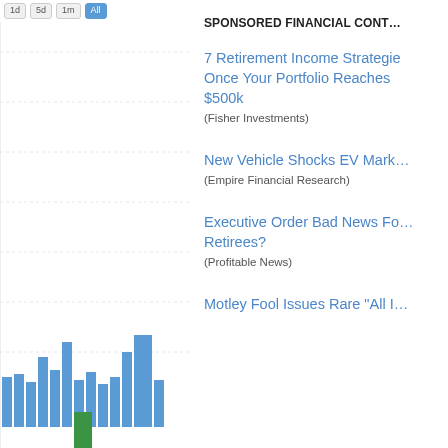[Figure (bar-chart): A bar chart showing trading volume over time with blue bars and one green bar at the bottom. Grid lines visible. Left panel of a financial website screenshot.]
SPONSORED FINANCIAL CONT...
7 Retirement Income Strategies Once Your Portfolio Reaches $500k (Fisher Investments)
New Vehicle Shocks EV Mark... (Empire Financial Research)
Executive Order Bad News Fo... Retirees? (Profitable News)
Motley Fool Issues Rare "All I...